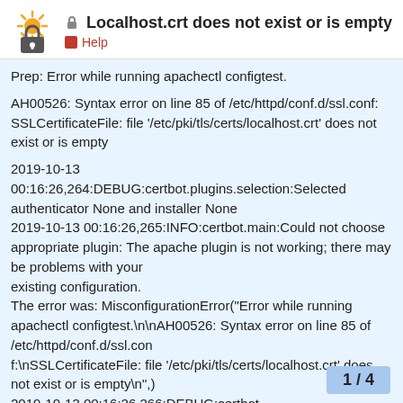Localhost.crt does not exist or is empty — Help
Prep: Error while running apachectl configtest.

AH00526: Syntax error on line 85 of /etc/httpd/conf.d/ssl.conf: SSLCertificateFile: file '/etc/pki/tls/certs/localhost.crt' does not exist or is empty

2019-10-13
00:16:26,264:DEBUG:certbot.plugins.selection:Selected authenticator None and installer None
2019-10-13 00:16:26,265:INFO:certbot.main:Could not choose appropriate plugin: The apache plugin is not working; there may be problems with your
existing configuration.
The error was: MisconfigurationError("Error while running apachectl configtest.\n\nAH00526: Syntax error on line 85 of /etc/httpd/conf.d/ssl.con
f:\nSSLCertificateFile: file '/etc/pki/tls/certs/localhost.crt' does not exist or is empty\n",)
2019-10-13 00:16:26,266:DEBUG:certbot.
abnormally:
1 / 4